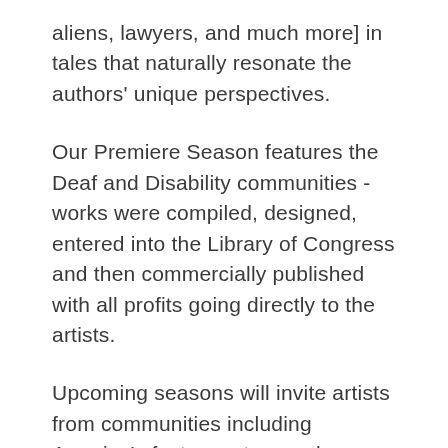aliens, lawyers, and much more] in tales that naturally resonate the authors' unique perspectives.
Our Premiere Season features the Deaf and Disability communities - works were compiled, designed, entered into the Library of Congress and then commercially published with all profits going directly to the artists.
Upcoming seasons will invite artists from communities including America's foster system and residents of towns under 10,000.